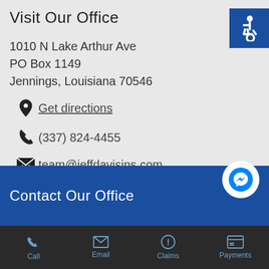Visit Our Office
1010 N Lake Arthur Ave
PO Box 1149
Jennings, Louisiana 70546
Get directions
(337) 824-4455
team@jeffdavisins.com
Contact Our Office
Call  Email  Claims  Payments